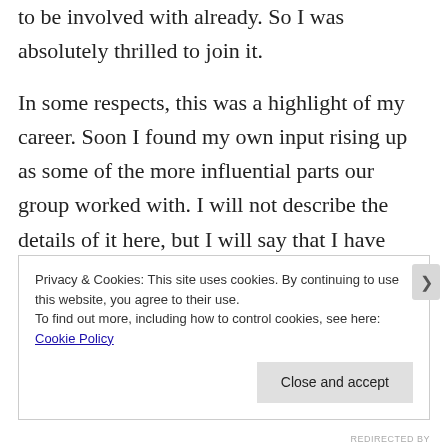to be involved with already.  So I was absolutely thrilled to join it.
In some respects, this was a highlight of my career.  Soon I found my own input rising up as some of the more influential parts our group worked with.  I will not describe the details of it here, but I will say that I have rarely had such impactful influence with church leaders as I did in that group at that time.  And this was a very official, well developed group
Privacy & Cookies: This site uses cookies. By continuing to use this website, you agree to their use.
To find out more, including how to control cookies, see here: Cookie Policy
Close and accept